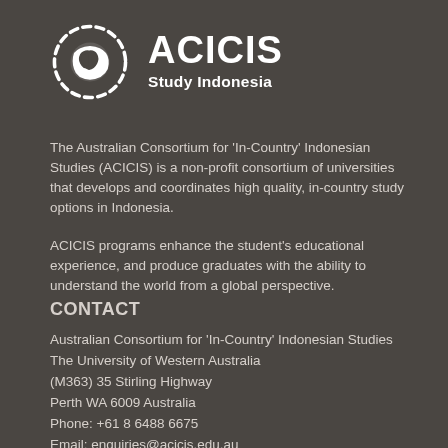[Figure (logo): ACICIS Study Indonesia logo — circular dashed border with globe icon on left, and bold text 'ACICIS' with 'Study Indonesia' subtitle on right, all in white on dark background]
The Australian Consortium for 'In-Country' Indonesian Studies (ACICIS) is a non-profit consortium of universities that develops and coordinates high quality, in-country study options in Indonesia.
ACICIS programs enhance the student's educational experience, and produce graduates with the ability to understand the world from a global perspective.
CONTACT
Australian Consortium for 'In-Country' Indonesian Studies The University of Western Australia
(M363) 35 Stirling Highway
Perth WA 6009 Australia
Phone: +61 8 6488 6675
Email: enquiries@acicis.edu.au